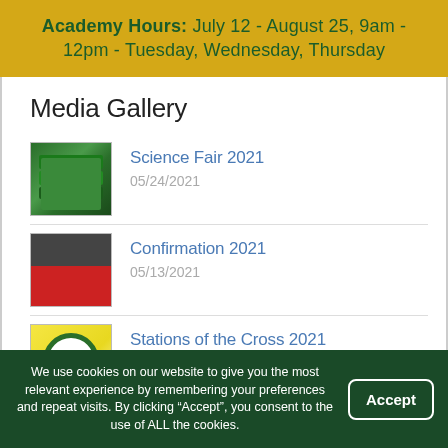Academy Hours: July 12 - August 25, 9am - 12pm - Tuesday, Wednesday, Thursday
Media Gallery
Science Fair 2021 | 05/24/2021
Confirmation 2021 | 05/13/2021
Stations of the Cross 2021 | 03/31/2021
We use cookies on our website to give you the most relevant experience by remembering your preferences and repeat visits. By clicking “Accept”, you consent to the use of ALL the cookies.